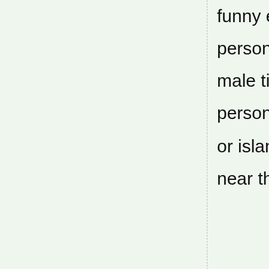|  |  |  |
| --- | --- | --- |
|  | funny erotic | th... |
|  | personal ads | Fre... |
|  | male tickling | wh... |
|  | personal ads | fuc... |
|  | or islands | tic... |
|  | near there. | pe... |
[Figure (photo): Three thumbnail photos of women, partially visible at bottom of page]
[Figure (photo): Partial photo of man visible at bottom right]